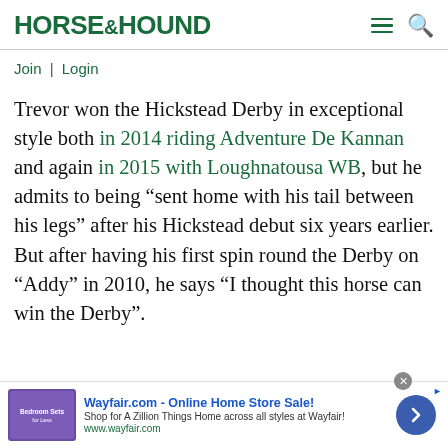HORSE&HOUND
Join | Login
Trevor won the Hickstead Derby in exceptional style both in 2014 riding Adventure De Kannan and again in 2015 with Loughnatousa WB, but he admits to being “sent home with his tail between his legs” after his Hickstead debut six years earlier. But after having his first spin round the Derby on “Addy” in 2010, he says “I thought this horse can win the Derby”.
[Figure (screenshot): Wayfair.com advertisement banner: Online Home Store Sale! Shop for A Zillion Things Home across all styles at Wayfair! www.wayfair.com with a bedroom sets image and navigation arrow]